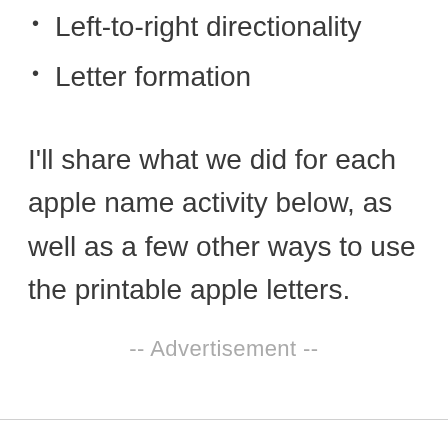Left-to-right directionality
Letter formation
I'll share what we did for each apple name activity below, as well as a few other ways to use the printable apple letters.
-- Advertisement --